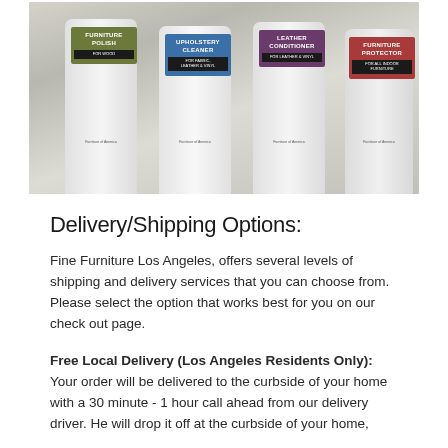[Figure (photo): Product photo showing four white spray/pump bottles of Furniture of America branded cleaning and care products lined up: Furniture Polish (for wood, green label), Upholstery Cleaner (for fabric, leather & vinyl, blue label), Leather Conditioner (for leather & vinyl, purple label), and Furniture Protector (for all indoor furniture, red label). Bottles are photographed on a reflective surface.]
Delivery/Shipping Options:
Fine Furniture Los Angeles, offers several levels of shipping and delivery services that you can choose from. Please select the option that works best for you on our check out page.
Free Local Delivery (Los Angeles Residents Only): Your order will be delivered to the curbside of your home with a 30 minute - 1 hour call ahead from our delivery driver. He will drop it off at the curbside of your home,